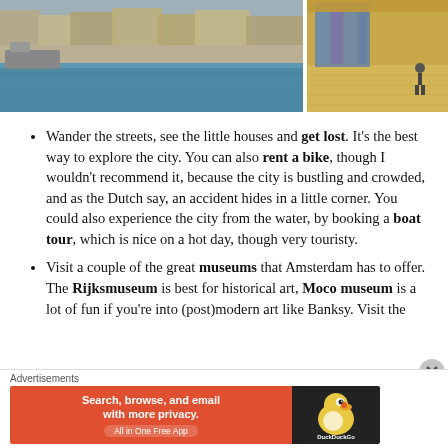[Figure (photo): Two photos side by side: left shows an Amsterdam canal with boats and buildings reflecting in the water; right shows a museum interior with large stained glass windows and a person standing on a wooden floor.]
Wander the streets, see the little houses and get lost. It's the best way to explore the city. You can also rent a bike, though I wouldn't recommend it, because the city is bustling and crowded, and as the Dutch say, an accident hides in a little corner. You could also experience the city from the water, by booking a boat tour, which is nice on a hot day, though very touristy.
Visit a couple of the great museums that Amsterdam has to offer. The Rijksmuseum is best for historical art, Moco museum is a lot of fun if you're into (post)modern art like Banksy. Visit the
Advertisements
[Figure (screenshot): DuckDuckGo advertisement banner: orange left panel with text 'Search, browse, and email with more privacy. All in One Free App' and dark right panel with DuckDuckGo duck logo.]